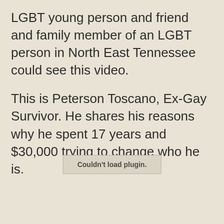LGBT young person and friend and family member of an LGBT person in North East Tennessee could see this video.
This is Peterson Toscano, Ex-Gay Survivor. He shares his reasons why he spent 17 years and $30,000 trying to change who he is.
Couldn't load plugin.